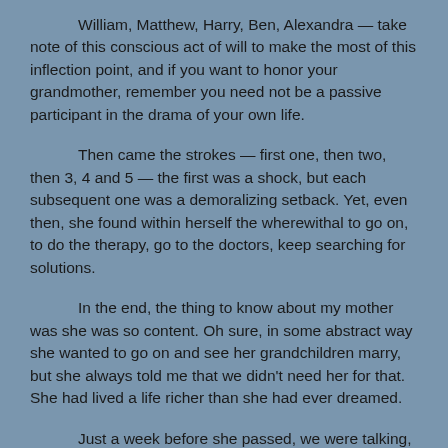William, Matthew, Harry, Ben, Alexandra — take note of this conscious act of will to make the most of this inflection point, and if you want to honor your grandmother, remember you need not be a passive participant in the drama of your own life.
Then came the strokes — first one, then two, then 3, 4 and 5 — the first was a shock, but each subsequent one was a demoralizing setback. Yet, even then, she found within herself the wherewithal to go on, to do the therapy, go to the doctors, keep searching for solutions.
In the end, the thing to know about my mother was she was so content. Oh sure, in some abstract way she wanted to go on and see her grandchildren marry, but she always told me that we didn't need her for that. She had lived a life richer than she had ever dreamed.
Just a week before she passed, we were talking, and she laid it out almost as if she knew what was coming. "I have